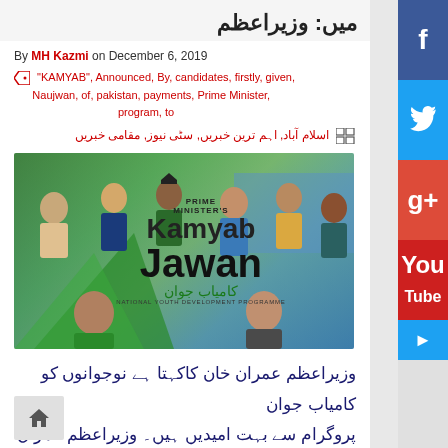میں: وزیراعظم
By MH Kazmi on December 6, 2019
"KAMYAB", Announced, By, candidates, firstly, given, Naujwan, of, pakistan, payments, Prime Minister, program, to
اسلام آباد, اہم ترین خبریں, سٹی نیوز, مقامی خبریں
[Figure (photo): Prime Minister's Kamyab Jawan National Youth Development Programme banner with young people]
وزیراعظم عمران خان کاکہتا ہے نوجوانوں کو کامیاب جوان پروگرام سے بہت امیدیں ہیں۔ وزیراعظم عمران خان کا کامیاب جوان پروگرام کی تقریب سے خطاب کرتے